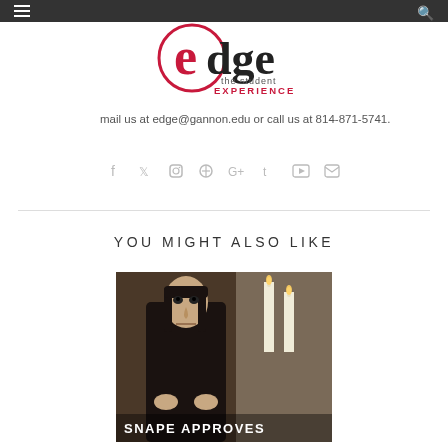edge – the student EXPERIENCE
mail us at edge@gannon.edu or call us at 814-871-5741.
[Figure (other): Social media icons row: Facebook, Twitter, Instagram, Pinterest, Google+, Tumblr, YouTube, Email]
YOU MIGHT ALSO LIKE
[Figure (photo): Image of Severus Snape from Harry Potter with text overlay reading 'SNAPE APPROVES']